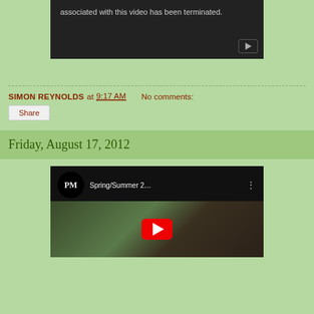[Figure (screenshot): YouTube video embed showing an error message that the account associated with this video has been terminated, with a YouTube play button icon in the bottom right corner.]
SIMON REYNOLDS at 9:17 AM   No comments:
Share
Friday, August 17, 2012
[Figure (screenshot): YouTube video embed showing a fashion runway video titled 'Spring/Summer 2...' with PM Studio logo, three-dot menu, and a red play button over a thumbnail of a model.]